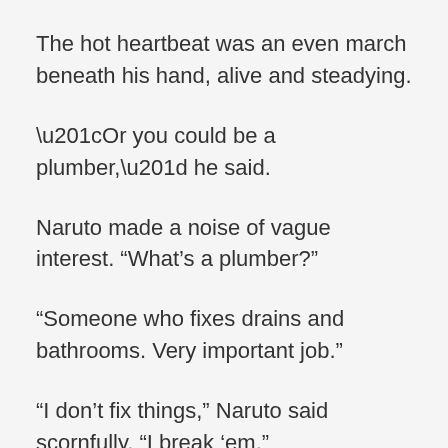The hot heartbeat was an even march beneath his hand, alive and steadying.
“Or you could be a plumber,” he said.
Naruto made a noise of vague interest. “What’s a plumber?”
“Someone who fixes drains and bathrooms. Very important job.”
“I don’t fix things,” Naruto said scornfully. “I break ‘em.”